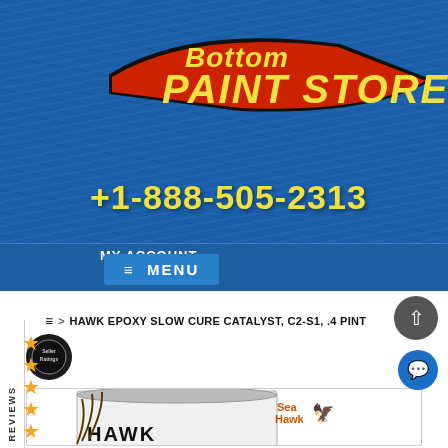[Figure (screenshot): Bottom Paint Store website header with blue painted wood texture background, logo showing 'Bottom PAINT STORE' in yellow italic text with a boat/torpedo shape, phone number +1-888-505-2313 in yellow, navigation bar with MY ACCOUNT and MENU button]
MY ACCOUNT
≡  MENU
CUSTOMER REVIEWS
≡  >  HAWK EPOXY SLOW CURE CATALYST, C2-S1, .4 PINT
[Figure (photo): Sea Hawk Hawk Epoxy product can - a rectangular metal tin with silver lid, showing eagle talons gripping the can, with Sea Hawk logo and HAWK EPOXY text on label]